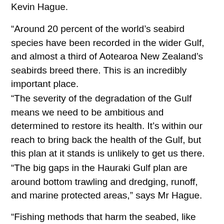Kevin Hague.
“Around 20 percent of the world’s seabird species have been recorded in the wider Gulf, and almost a third of Aotearoa New Zealand’s seabirds breed there. This is an incredibly important place.
“The severity of the degradation of the Gulf means we need to be ambitious and determined to restore its health. It’s within our reach to bring back the health of the Gulf, but this plan at it stands is unlikely to get us there.
“The big gaps in the Hauraki Gulf plan are around bottom trawling and dredging, runoff, and marine protected areas,” says Mr Hague.
“Fishing methods that harm the seabed, like bottom trawling, must end entirely. Wherever they occur, they devastate the